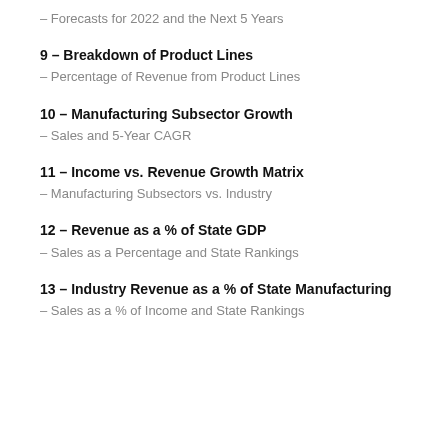– Forecasts for 2022 and the Next 5 Years
9 – Breakdown of Product Lines
– Percentage of Revenue from Product Lines
10 – Manufacturing Subsector Growth
– Sales and 5-Year CAGR
11 – Income vs. Revenue Growth Matrix
– Manufacturing Subsectors vs. Industry
12 – Revenue as a % of State GDP
– Sales as a Percentage and State Rankings
13 – Industry Revenue as a % of State Manufacturing
– Sales as a % of Income and State Rankings